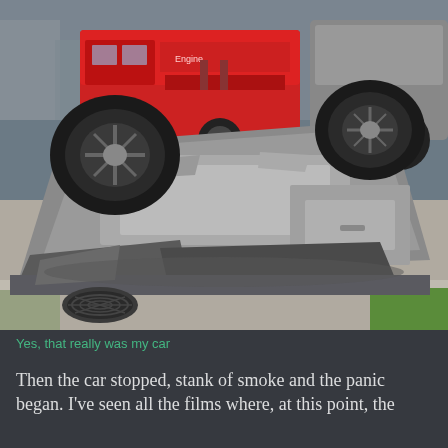[Figure (photo): A silver SUV/car flipped upside down on a sidewalk/street, with its wheels in the air. A red fire truck is visible in the background. The car's roof and body panels are visibly crushed and damaged. A storm drain is visible in the lower left corner.]
Yes, that really was my car
Then the car stopped, stank of smoke and the panic began. I've seen all the films where, at this point, the